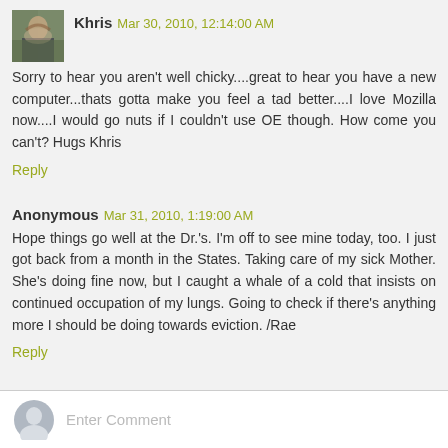[Figure (photo): Small avatar photo of Khris - person outdoors]
Khris Mar 30, 2010, 12:14:00 AM
Sorry to hear you aren't well chicky....great to hear you have a new computer...thats gotta make you feel a tad better....I love Mozilla now....I would go nuts if I couldn't use OE though. How come you can't? Hugs Khris
Reply
Anonymous Mar 31, 2010, 1:19:00 AM
Hope things go well at the Dr.'s. I'm off to see mine today, too. I just got back from a month in the States. Taking care of my sick Mother. She's doing fine now, but I caught a whale of a cold that insists on continued occupation of my lungs. Going to check if there's anything more I should be doing towards eviction. /Rae
Reply
Enter Comment